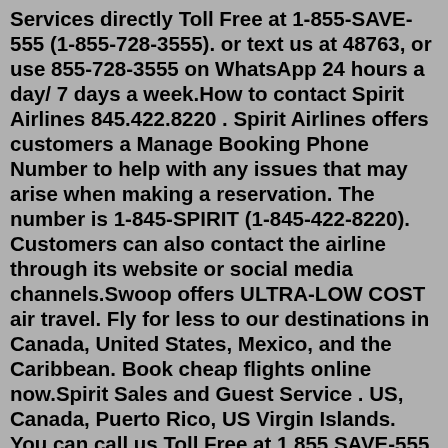Services directly Toll Free at 1-855-SAVE-555 (1-855-728-3555). or text us at 48763, or use 855-728-3555 on WhatsApp 24 hours a day/ 7 days a week.How to contact Spirit Airlines 845.422.8220 . Spirit Airlines offers customers a Manage Booking Phone Number to help with any issues that may arise when making a reservation. The number is 1-845-SPIRIT (1-845-422-8220). Customers can also contact the airline through its website or social media channels.Swoop offers ULTRA-LOW COST air travel. Fly for less to our destinations in Canada, United States, Mexico, and the Caribbean. Book cheap flights online now.Spirit Sales and Guest Service . US, Canada, Puerto Rico, US Virgin Islands. You can call us Toll Free at 1 855 SAVE-555 (1 855 728-3555) or. text us at 48763, or use 801-401-2222 on WhatsApp. 24 hours a day/ 7 days a week . Assistance for the hearing impaired. For TTY/TTD dial 711 . Spirit Vacations. 954-698-0125 Jul 04, 2022 · Phone Contacts. Customer Service: 855-728-3555. SMS Text: 48763. WhatsApp 855-728-3555 with “Hello”. Method 1Calling from the U.S. and